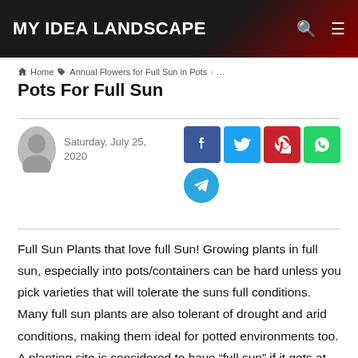MY IDEA LANDSCAPE
Home › Annual Flowers for Full Sun in Pots › …
Pots For Full Sun
Saturday, July 25, 2020
[Figure (infographic): Social sharing buttons: Facebook (dark blue), Twitter (light blue), Pinterest (red), WhatsApp (green), Telegram (blue circle)]
Full Sun Plants that love full Sun! Growing plants in full sun, especially into pots/containers can be hard unless you pick varieties that will tolerate the suns full conditions. Many full sun plants are also tolerant of drought and arid conditions, making them ideal for potted environments too. A planting site is considered to have “full sun” if it gets at least six hours of direct sunlight per day. Whi…